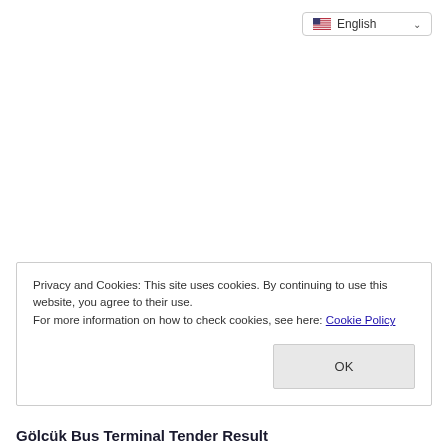[Figure (screenshot): Language selector dropdown showing English with US flag]
Privacy and Cookies: This site uses cookies. By continuing to use this website, you agree to their use.
For more information on how to check cookies, see here: Cookie Policy
Gölcük Bus Terminal Tender Result